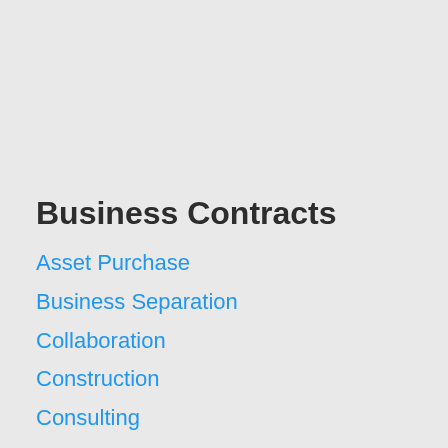Business Contracts
Asset Purchase
Business Separation
Collaboration
Construction
Consulting